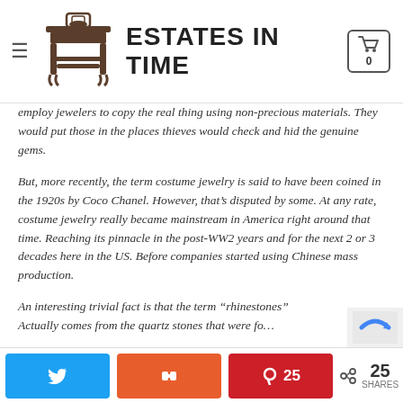ESTATES IN TIME
employ jewelers to copy the real thing using non-precious materials. They would put those in the places thieves would check and hid the genuine gems.
But, more recently, the term costume jewelry is said to have been coined in the 1920s by Coco Chanel. However, that’s disputed by some. At any rate, costume jewelry really became mainstream in America right around that time. Reaching its pinnacle in the post-WW2 years and for the next 2 or 3 decades here in the US. Before companies started using Chinese mass production.
An interesting trivial fact is that the term “rhinestones” Actually comes from the quartz stones that were fo…
25 SHARES